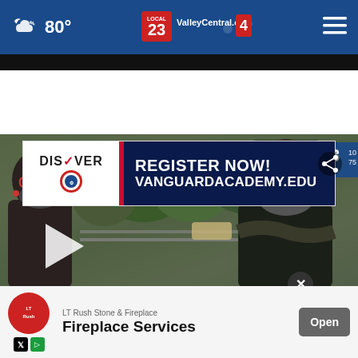80° ValleyCentral.com Local 23/4
[Figure (screenshot): Advertisement banner for Vanguard Academy: DISCOVER logo on left, red divider, dark blue right side with text REGISTER NOW! VANGUARDACADEMY.EDU]
[Figure (screenshot): News video screenshot showing two people wearing masks being interviewed outdoors near a fence and trees, with a play button overlay, share icon, channel bug showing 23 and 75°, ticker bar reading SEE ALL MAJOR LOCAL HEADLINES ON VALLEYCENTRAL.COM LOCAL, and LOCAL text watermark]
[Figure (screenshot): Bottom advertisement overlay for LT Rush Stone & Fireplace - Fireplace Services with Open button, close X button, and LT Rush circular logo with social media icons]